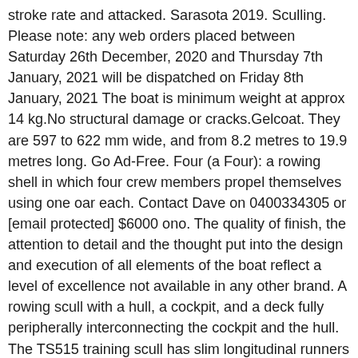stroke rate and attacked. Sarasota 2019. Sculling. Please note: any web orders placed between Saturday 26th December, 2020 and Thursday 7th January, 2021 will be dispatched on Friday 8th January, 2021 The boat is minimum weight at approx 14 kg.No structural damage or cracks.Gelcoat. They are 597 to 622 mm wide, and from 8.2 metres to 19.9 metres long. Go Ad-Free. Four (a Four): a rowing shell in which four crew members propel themselves using one oar each. Contact Dave on 0400334305 or [email protected] $6000 ono. The quality of finish, the attention to detail and the thought put into the design and execution of all elements of the boat reflect a level of excellence not available in any other brand. A rowing scull with a hull, a cockpit, and a deck fully peripherally interconnecting the cockpit and the hull. The TS515 training scull has slim longitudinal runners underneath it and a built in skeg that give it